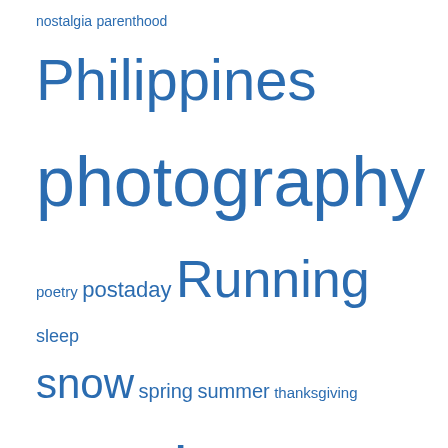[Figure (infographic): Tag cloud with words in varying sizes in blue color: nostalgia, parenthood, Philippines (large), photography (very large), poetry, postaday, Running (large), sleep, snow (medium-large), spring, summer, thanksgiving, travel (large), weekly photo challenge, winter (large)]
Blog Stats
759,110 hits
[Figure (photo): Bottom portion showing a concrete ledge at top and tropical palm fronds/leaves below, in dark tones]
View Full Site
Blog at WordPress.com.